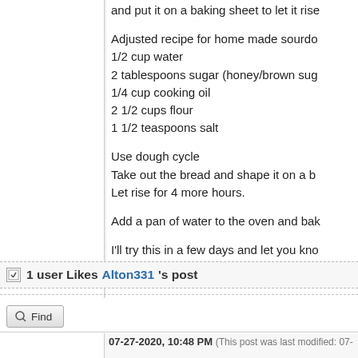and put it on a baking sheet to let it rise

Adjusted recipe for home made sourdough
1/2 cup water
2 tablespoons sugar (honey/brown sugar)
1/4 cup cooking oil
2 1/2 cups flour
1 1/2 teaspoons salt

Use dough cycle
Take out the bread and shape it on a baking sheet
Let rise for 4 more hours.

Add a pan of water to the oven and bake

I'll try this in a few days and let you know
1 user Likes Alton331's post
Find
07-27-2020, 10:48 PM (This post was last modified: 07-